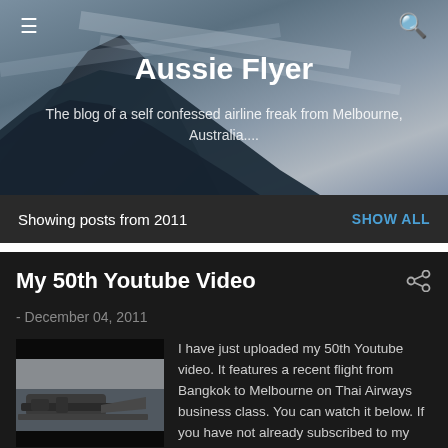[Figure (screenshot): Blog header background with airplane wing and sky]
Aussie Flyer
The blog of a self confessed airline freak from Melbourne, Australia....
Showing posts from 2011   SHOW ALL
My 50th Youtube Video
- December 04, 2011
[Figure (photo): Thumbnail of airplane on tarmac]
I have just uploaded my 50th Youtube video. It features a recent flight from Bangkok to Melbourne on Thai Airways business class. You can watch it below. If you have not already subscribed to my channel, plea...